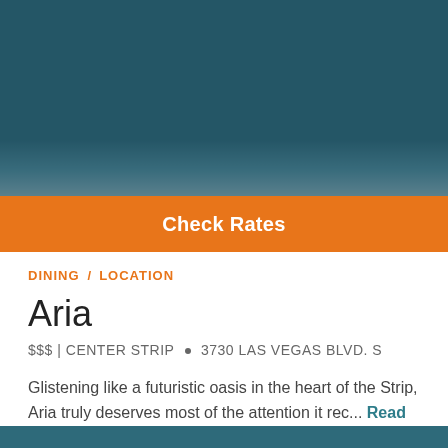[Figure (photo): Hotel or resort photo with teal/dark blue tones, partially obscured]
Check Rates
DINING / LOCATION
Aria
$$$ | CENTER STRIP • 3730 LAS VEGAS BLVD. S
Glistening like a futuristic oasis in the heart of the Strip, Aria truly deserves most of the attention it rec... Read More